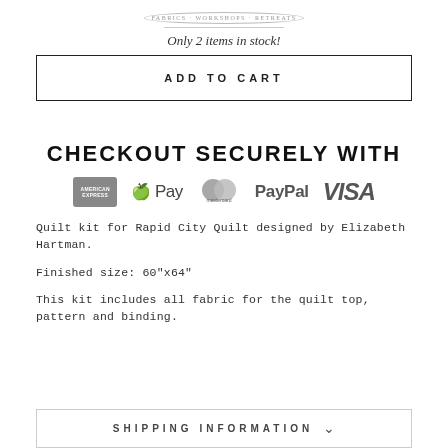FABRICS · WORKSHOPS · RETREATS
Only 2 items in stock!
ADD TO CART
CHECKOUT SECURELY WITH
[Figure (logo): Payment method logos: American Express, Apple Pay, Mastercard, PayPal, Visa]
Quilt kit for Rapid City Quilt designed by Elizabeth Hartman.
Finished size: 60"x64"
This kit includes all fabric for the quilt top, pattern and binding.
SHIPPING INFORMATION